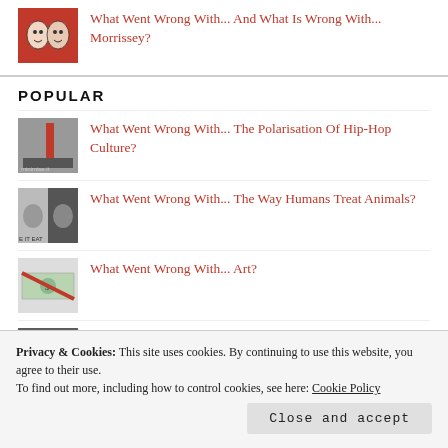[Figure (illustration): Small thumbnail image showing two illustrated faces on red background]
What Went Wrong With... And What Is Wrong With... Morrissey?
POPULAR
[Figure (illustration): Small thumbnail image with hip-hop related imagery]
What Went Wrong With... The Polarisation Of Hip-Hop Culture?
[Figure (illustration): Small thumbnail showing animal-related imagery with text 'E IT EAT']
What Went Wrong With... The Way Humans Treat Animals?
[Figure (illustration): Small thumbnail showing a dollar bill with red diagonal line]
What Went Wrong With... Art?
[Figure (illustration): Small thumbnail showing the number 4 on a stormy background]
What Went Wrong With... Channel 4 (In The UK)?
Privacy & Cookies: This site uses cookies. By continuing to use this website, you agree to their use. To find out more, including how to control cookies, see here: Cookie Policy
Close and accept